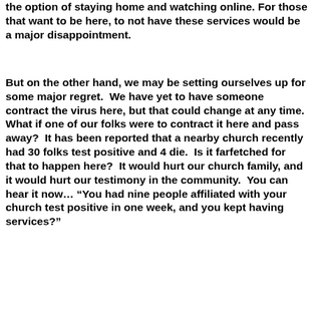the option of staying home and watching online. For those that want to be here, to not have these services would be a major disappointment.
But on the other hand, we may be setting ourselves up for some major regret.  We have yet to have someone contract the virus here, but that could change at any time.  What if one of our folks were to contract it here and pass away?  It has been reported that a nearby church recently had 30 folks test positive and 4 die.  Is it farfetched for that to happen here?  It would hurt our church family, and it would hurt our testimony in the community.  You can hear it now… “You had nine people affiliated with your church test positive in one week, and you kept having services?”